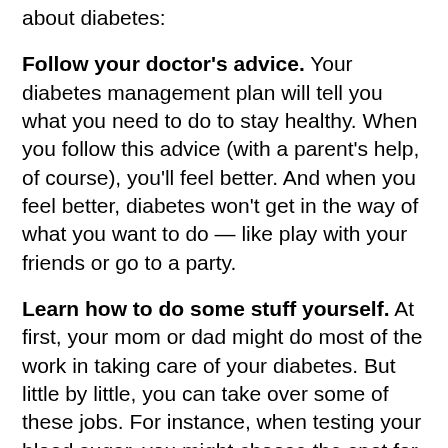about diabetes:
Follow your doctor's advice. Your diabetes management plan will tell you what you need to do to stay healthy. When you follow this advice (with a parent's help, of course), you'll feel better. And when you feel better, diabetes won't get in the way of what you want to do — like play with your friends or go to a party.
Learn how to do some stuff yourself. At first, your mom or dad might do most of the work in taking care of your diabetes. But little by little, you can take over some of these jobs. For instance, when testing your blood sugar, you might choose the spot for testing, press the plunger on the syringe, and read the results out loud. It's good practice for the day when you'll do